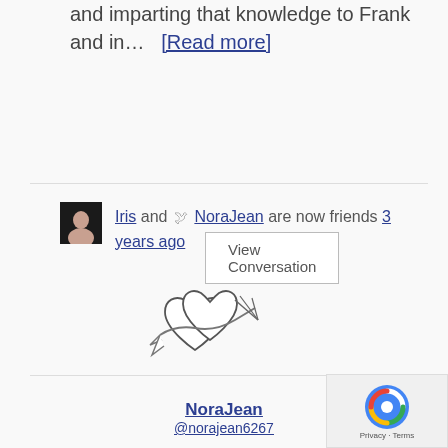and imparting that knowledge to Frank and in…  [Read more]
View Conversation
Iris and NoraJean are now friends 3 years ago
[Figure (illustration): Sketch illustration of two hearts intertwined with a ribbon/banner]
NoraJean
@norajean6267
View Profile